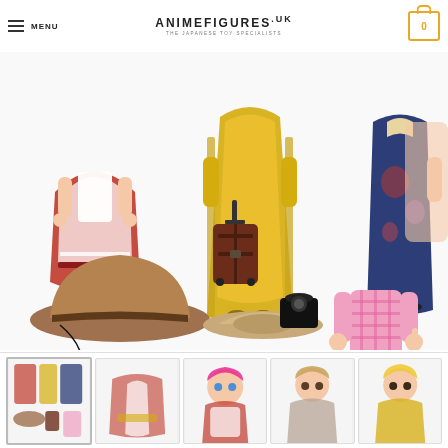MENU | ANIMEFIGURES.UK - THE JAPANESE TOY SPECIALISTS | Cart: 0
[Figure (photo): Product photo of anime figure accessories including: red dress figure, yellow robed figure, dark blue qipao figure (top row); brown cowboy hat with string, brown suitcase, beige hat, black camera bag, and pink plaid outfit figure with blue skirt and brown boots (bottom row), on white background]
[Figure (photo): Thumbnail 1: overview of all costume accessories and figures laid out]
[Figure (photo): Thumbnail 2: close-up of costume items]
[Figure (photo): Thumbnail 3: pink-haired figure in red dress]
[Figure (photo): Thumbnail 4: light brown-haired figure]
[Figure (photo): Thumbnail 5: blonde figure in yellow robe]